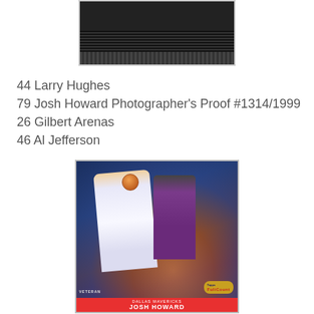[Figure (photo): Top portion of a basketball trading card showing a dark/black card back or edge in a protective case]
44 Larry Hughes
79 Josh Howard Photographer's Proof #1314/1999
26 Gilbert Arenas
46 Al Jefferson
[Figure (photo): Topps Full Court basketball trading card of Josh Howard, Dallas Mavericks, showing Josh Howard going up for a layup against a defender in a purple uniform. Card labeled VETERAN, DALLAS MAVERICKS, JOSH HOWARD, with Topps Full Court logo.]